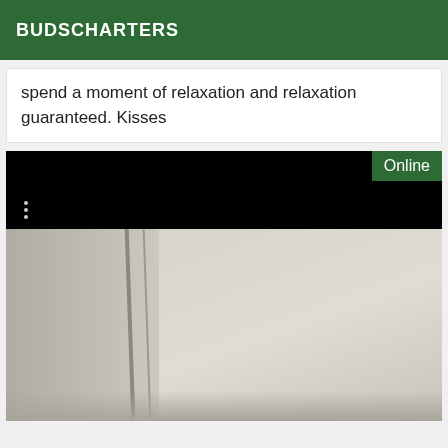BUDSCHARTERS
spend a moment of relaxation and relaxation guaranteed. Kisses
[Figure (photo): A room interior photo with a video player overlay showing an 'Online' badge in green and a three-dot menu icon. The photo below shows what appears to be a beige/cream interior room with vertical structural elements or a window frame visible.]